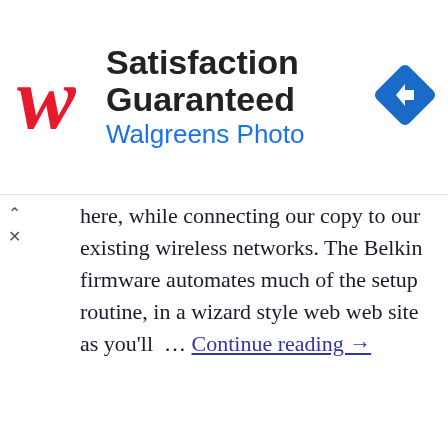[Figure (screenshot): Walgreens Photo advertisement banner with red cursive W logo, bold text 'Satisfaction Guaranteed', blue subtitle 'Walgreens Photo', and a blue diamond-shaped navigation arrow icon on the right.]
here, while connecting our copy to our existing wireless networks. The Belkin firmware automates much of the setup routine, in a wizard style web web site as you'll … Continue reading →